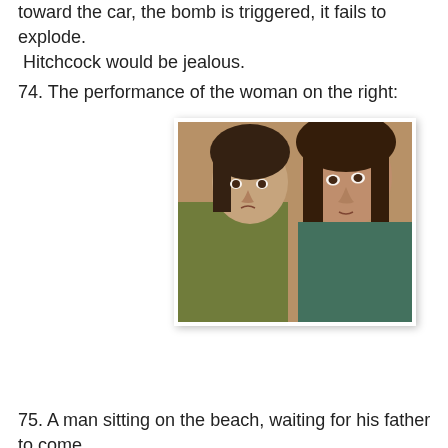toward the car, the bomb is triggered, it fails to explode. Hitchcock would be jealous.
74. The performance of the woman on the right:
[Figure (photo): Two women indoors; one on the left with dark short hair wearing green, one on the right with longer dark wavy hair looking toward camera.]
75. A man sitting on the beach, waiting for his father to come